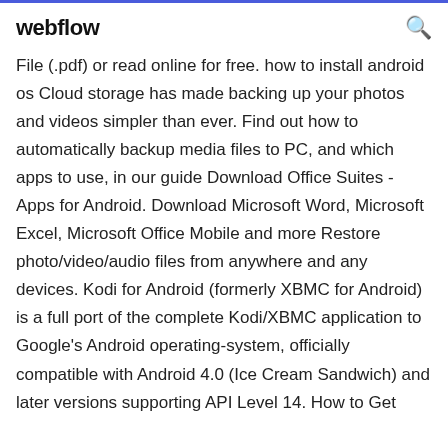webflow
File (.pdf) or read online for free. how to install android os Cloud storage has made backing up your photos and videos simpler than ever. Find out how to automatically backup media files to PC, and which apps to use, in our guide Download Office Suites - Apps for Android. Download Microsoft Word, Microsoft Excel, Microsoft Office Mobile and more Restore photo/video/audio files from anywhere and any devices. Kodi for Android (formerly XBMC for Android) is a full port of the complete Kodi/XBMC application to Google's Android operating-system, officially compatible with Android 4.0 (Ice Cream Sandwich) and later versions supporting API Level 14. How to Get